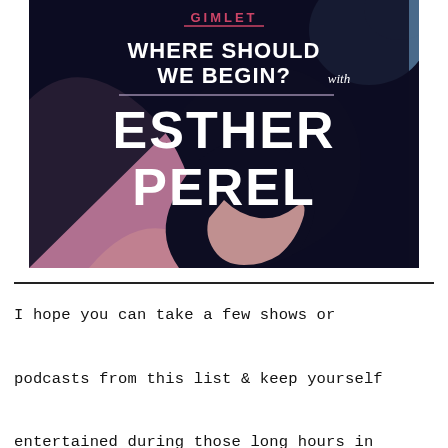[Figure (illustration): Podcast cover art for 'Where Should We Begin? with Esther Perel' by Gimlet. Dark navy background with abstract silhouettes in mauve/dusty pink and slate blue. Text reads: GIMLET at top, then 'WHERE SHOULD WE BEGIN? with' in bold white serif, then a horizontal line, then 'ESTHER PEREL' in very large bold white serif letters.]
I hope you can take a few shows or podcasts from this list & keep yourself entertained during those long hours in front of Lightroom. Happy editing!